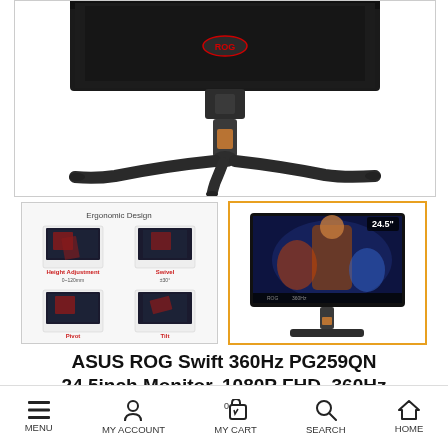[Figure (photo): ASUS ROG Swift gaming monitor shown from the back, featuring a three-pronged stand with copper/gold accent, dark gray body with ROG logo, viewed at an angle showing the back panel.]
[Figure (photo): Thumbnail showing ergonomic design features: Height Adjustment, Swivel, Pivot, and Tilt adjustments illustrated with four small monitor images.]
[Figure (photo): Thumbnail showing ASUS ROG Swift PG259QN monitor front view with gaming display showing a basketball player, 24.5 inch label visible.]
ASUS ROG Swift 360Hz PG259QN 24.5inch Monitor, 1080P FHD, 360Hz
MENU   MY ACCOUNT   0 MY CART   SEARCH   HOME